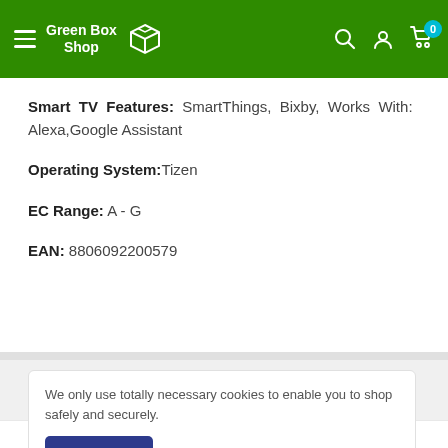Green Box Shop
Smart TV Features: SmartThings, Bixby, Works With: Alexa,Google Assistant
Operating System: Tizen
EC Range: A - G
EAN: 8806092200579
We only use totally necessary cookies to enable you to shop safely and securely.
customers have changed their minds. Their condition is so